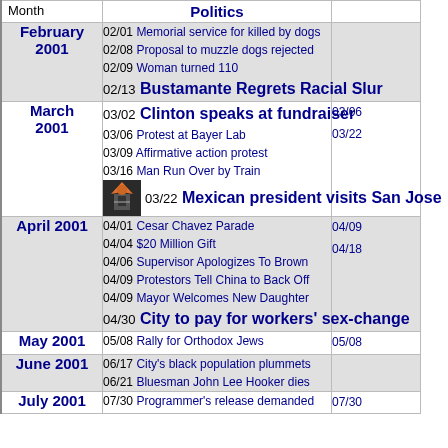| Month | Politics |  |
| --- | --- | --- |
| February 2001 | 02/01 Memorial service for killed by dogs | 02/08 Proposal to muzzle dogs rejected | 02/09 Woman turned 110 | 02/13 Bustamante Regrets Racial Slur |  |
| March 2001 | 03/02 Clinton speaks at fundraiser | 03/06 Protest at Bayer Lab | 03/09 Affirmative action protest | 03/16 Man Run Over by Train | 03/22 Mexican president visits San Jose | 03/06 | 03/22 |
| April 2001 | 04/01 Cesar Chavez Parade | 04/04 $20 Million Gift | 04/06 Supervisor Apologizes To Brown | 04/09 Protestors Tell China to Back Off | 04/09 Mayor Welcomes New Daughter | 04/30 City to pay for workers' sex-change | 04/09 | 04/18 |
| May 2001 | 05/08 Rally for Orthodox Jews | 05/08 |
| June 2001 | 06/17 City's black population plummets | 06/21 Bluesman John Lee Hooker dies |  |
| July 2001 | 07/30 Programmer's release demanded | 07/30 |